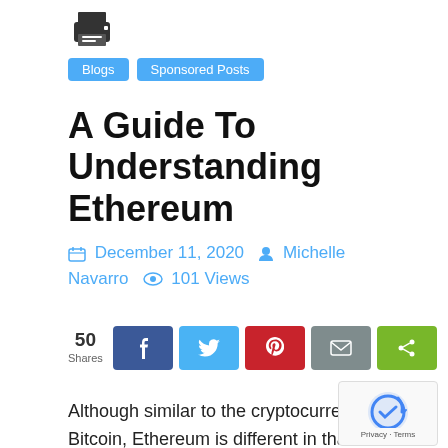[Figure (illustration): Printer icon]
Blogs  Sponsored Posts
A Guide To Understanding Ethereum
December 11, 2020  Michelle Navarro  101 Views
[Figure (infographic): Social share bar with 50 shares, Facebook, Twitter, Pinterest, Email, and share buttons]
Although similar to the cryptocurrency Bitcoin, Ethereum is different in that it expanded well beyond the capabilities of it by having its very own network, browser, payment system, and even coding language. As a result, users are able to create decentralized apps on the Blockchain of Ethereum.